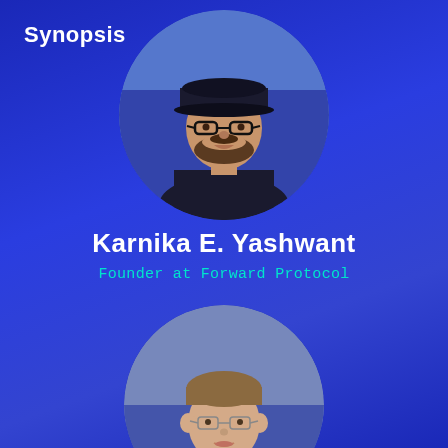Synopsis
[Figure (photo): Circular portrait photo of Karnika E. Yashwant, a man with dark beard wearing glasses and a black cap, against a blue sky background]
Karnika E. Yashwant
Founder at Forward Protocol
[Figure (photo): Circular portrait photo of a young man with light brown hair wearing thin-framed glasses, smiling, against a blue-grey background]